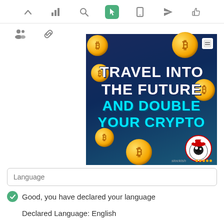[Figure (screenshot): Web UI toolbar with icons: chevron up, bar chart, search, active pointer/cursor (green background), mobile phone, paper plane, thumbs up. Below: secondary toolbar with people icon and link icon.]
[Figure (illustration): Crypto advertisement banner image: dark blue background with gold coins, text 'TRAVEL INTO THE FUTURE AND DOUBLE YOUR CRYPTO' in white and cyan, cartoon mascot at bottom right, watermark icon top right.]
Language
Good, you have declared your language
Declared Language: English